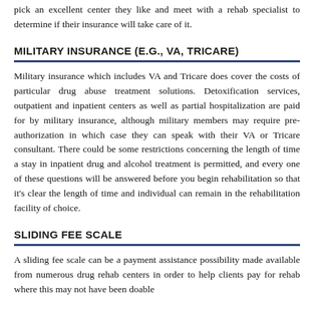pick an excellent center they like and meet with a rehab specialist to determine if their insurance will take care of it.
MILITARY INSURANCE (E.G., VA, TRICARE)
Military insurance which includes VA and Tricare does cover the costs of particular drug abuse treatment solutions. Detoxification services, outpatient and inpatient centers as well as partial hospitalization are paid for by military insurance, although military members may require pre-authorization in which case they can speak with their VA or Tricare consultant. There could be some restrictions concerning the length of time a stay in inpatient drug and alcohol treatment is permitted, and every one of these questions will be answered before you begin rehabilitation so that it's clear the length of time and individual can remain in the rehabilitation facility of choice.
SLIDING FEE SCALE
A sliding fee scale can be a payment assistance possibility made available from numerous drug rehab centers in order to help clients pay for rehab where this may not have been doable